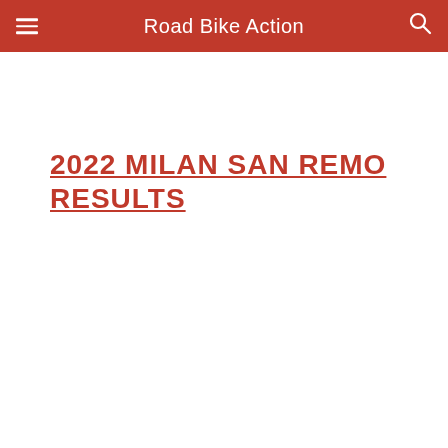Road Bike Action
2022 MILAN SAN REMO RESULTS